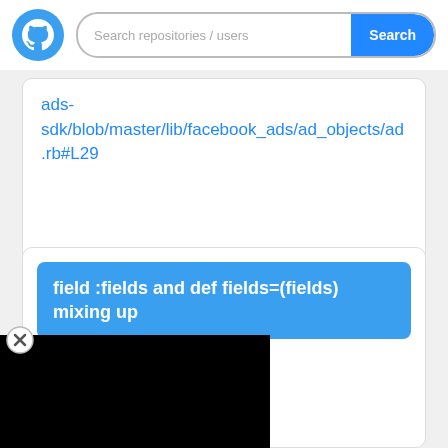[Figure (screenshot): GitHub search bar with logo, search input, and Search button]
ads-sdk/blob/master/lib/facebook_ads/ad_objects/ad.rb#L29
field :fields and def fields=(fields) mixing up
Issue
ebook/facebook-ruby-